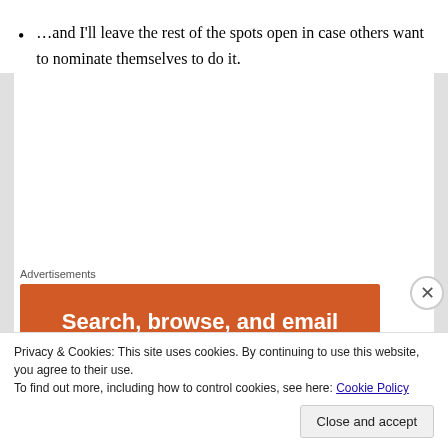…and I'll leave the rest of the spots open in case others want to nominate themselves to do it.
Advertisements
[Figure (other): Orange advertisement banner reading 'Search, browse, and email with more privacy. All in One Free App']
Privacy & Cookies: This site uses cookies. By continuing to use this website, you agree to their use.
To find out more, including how to control cookies, see here: Cookie Policy
Close and accept